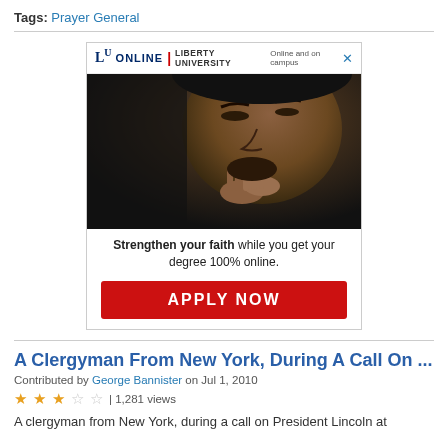Tags: Prayer General
[Figure (other): Advertisement for Liberty University Online featuring a man praying with closed eyes, text 'Strengthen your faith while you get your degree 100% online.' and an APPLY NOW button]
A Clergyman From New York, During A Call On ...
Contributed by George Bannister on Jul 1, 2010
★★★☆☆ | 1,281 views
A clergyman from New York, during a call on President Lincoln at